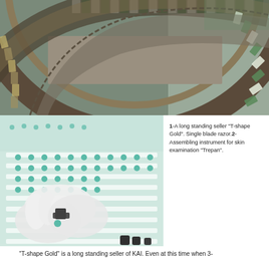[Figure (photo): Close-up industrial photo of a circular conveyor/assembly machine with rows of packaged razor blades in green and white packaging, metallic gears and machinery visible]
[Figure (photo): Worker in white gloves assembling small medical/surgical instruments (Trepan) on a white grid tray with teal-tipped components]
1-A long standing seller "T-shape Gold". Single blade razor.2-Assembling instrument for skin examination "Trepan".
"T-shape Gold" is a long standing seller of KAI. Even at this time when 3-